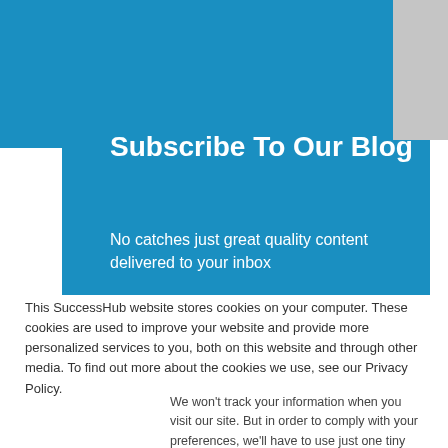Subscribe To Our Blog
No catches just great quality content delivered to your inbox
First name
This SuccessHub website stores cookies on your computer. These cookies are used to improve your website and provide more personalized services to you, both on this website and through other media. To find out more about the cookies we use, see our Privacy Policy.
We won't track your information when you visit our site. But in order to comply with your preferences, we'll have to use just one tiny cookie so that you're not asked to make this choice again.
Accept
Decline